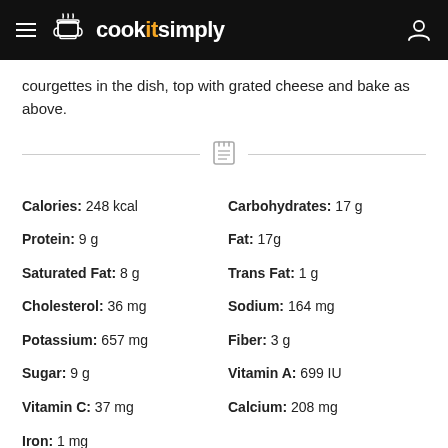cookitsimply
courgettes in the dish, top with grated cheese and bake as above.
| Calories: 248 kcal | Carbohydrates: 17 g |
| Protein: 9 g | Fat: 17g |
| Saturated Fat: 8 g | Trans Fat: 1 g |
| Cholesterol: 36 mg | Sodium: 164 mg |
| Potassium: 657 mg | Fiber: 3 g |
| Sugar: 9 g | Vitamin A: 699 IU |
| Vitamin C: 37 mg | Calcium: 208 mg |
| Iron: 1 mg |  |
DISHES